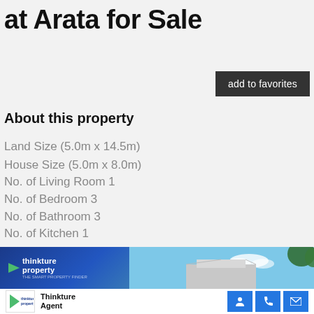at Arata for Sale
add to favorites
About this property
Land Size (5.0m x 14.5m)
House Size (5.0m x 8.0m)
No. of Living Room 1
No. of Bedroom 3
No. of Bathroom 3
No. of Kitchen 1
[Figure (photo): Real estate property photo banner showing Thinkture Property logo on blue background with a house exterior and trees against blue sky]
Thinkture Agent